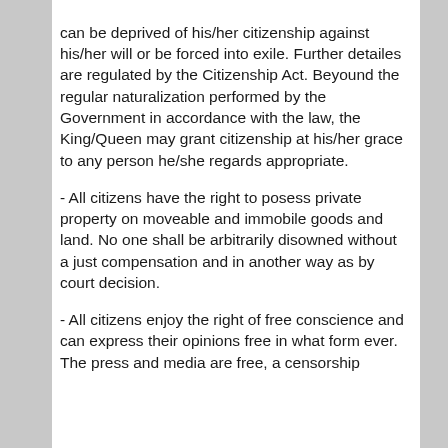can be deprived of his/her citizenship against his/her will or be forced into exile. Further detailes are regulated by the Citizenship Act. Beyound the regular naturalization performed by the Government in accordance with the law, the King/Queen may grant citizenship at his/her grace to any person he/she regards appropriate.
- All citizens have the right to posess private property on moveable and immobile goods and land. No one shall be arbitrarily disowned without a just compensation and in another way as by court decision.
- All citizens enjoy the right of free conscience and can express their opinions free in what form ever. The press and media are free, a censorship